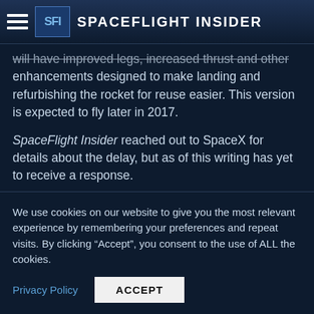Spaceflight Insider
will have improved legs, increased thrust and other enhancements designed to make landing and refurbishing the rocket for reuse easier. This version is expected to fly later in 2017.
SpaceFlight Insider reached out to SpaceX for details about the delay, but as of this writing has yet to receive a response.
[Figure (infographic): Social media share icons: Facebook, Twitter, LinkedIn, Pinterest, Reddit, More]
We use cookies on our website to give you the most relevant experience by remembering your preferences and repeat visits. By clicking “Accept”, you consent to the use of ALL the cookies.
Privacy Policy  ACCEPT